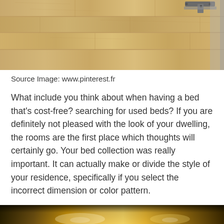[Figure (photo): Close-up photo of light wood laminate flooring with a small metal hinge or bracket visible in the upper right corner.]
Source Image: www.pinterest.fr
What include you think about when having a bed that’s cost-free? searching for used beds? If you are definitely not pleased with the look of your dwelling, the rooms are the first place which thoughts will certainly go. Your bed collection was really important. It can actually make or divide the style of your residence, specifically if you select the incorrect dimension or color pattern.
[Figure (photo): Bottom strip of a photo showing a warm golden/amber light scene, partially cropped at the bottom of the page.]